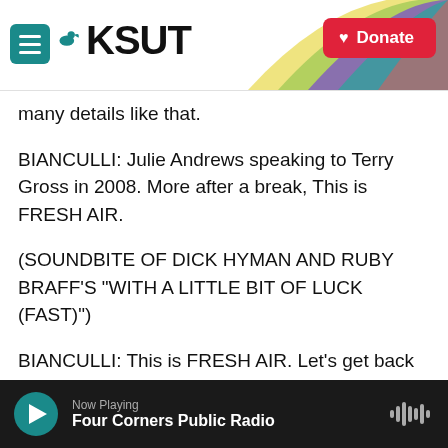KSUT
many details like that.
BIANCULLI: Julie Andrews speaking to Terry Gross in 2008. More after a break, This is FRESH AIR.
(SOUNDBITE OF DICK HYMAN AND RUBY BRAFF'S "WITH A LITTLE BIT OF LUCK (FAST)")
BIANCULLI: This is FRESH AIR. Let's get back to Terry's 2008 interview with singer and actress Julie Andrews. Andrews is the recipient of this year's American Film Institute's Life Achievement Award. When we left off, she was talking about working
Now Playing
Four Corners Public Radio